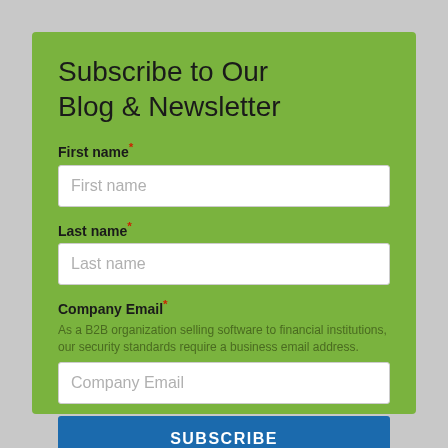Subscribe to Our Blog & Newsletter
First name*
Last name*
Company Email*
As a B2B organization selling software to financial institutions, our security standards require a business email address.
SUBSCRIBE